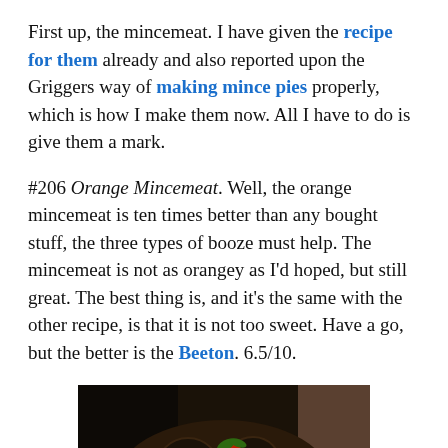First up, the mincemeat. I have given the recipe for them already and also reported upon the Griggers way of making mince pies properly, which is how I make them now. All I have to do is give them a mark.
#206 Orange Mincemeat. Well, the orange mincemeat is ten times better than any bought stuff, the three types of booze must help. The mincemeat is not as orangey as I'd hoped, but still great. The best thing is, and it's the same with the other recipe, is that it is not too sweet. Have a go, but the better is the Beeton. 6.5/10.
[Figure (photo): Close-up dark photo of mince pies on a white plate, showing dark pastry with festive decorations.]